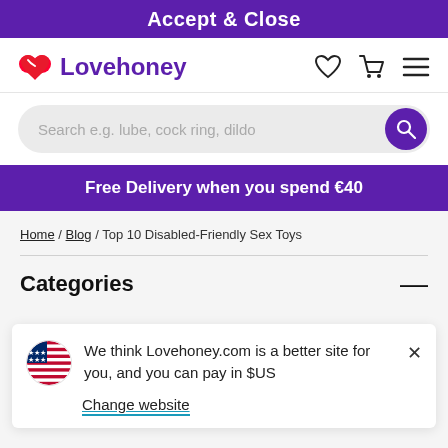Accept & Close
[Figure (logo): Lovehoney logo with pink heart icon and purple text]
[Figure (screenshot): Search bar with placeholder text: Search e.g. lube, cock ring, dildo and a purple search button]
Free Delivery when you spend €40
Home / Blog / Top 10 Disabled-Friendly Sex Toys
Categories
We think Lovehoney.com is a better site for you, and you can pay in $US
Change website